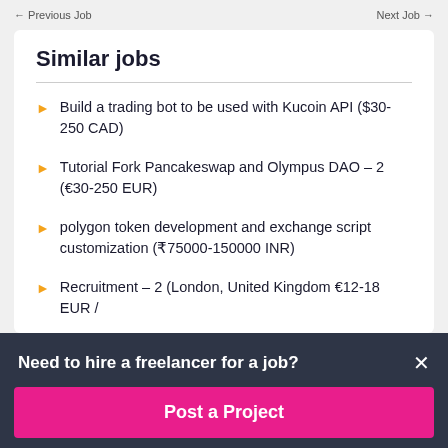← Previous Job    Next Job →
Similar jobs
Build a trading bot to be used with Kucoin API ($30-250 CAD)
Tutorial Fork Pancakeswap and Olympus DAO – 2 (€30-250 EUR)
polygon token development and exchange script customization (₹75000-150000 INR)
Recruitment – 2 (London, United Kingdom €12-18 EUR /
Need to hire a freelancer for a job?
Post a Project